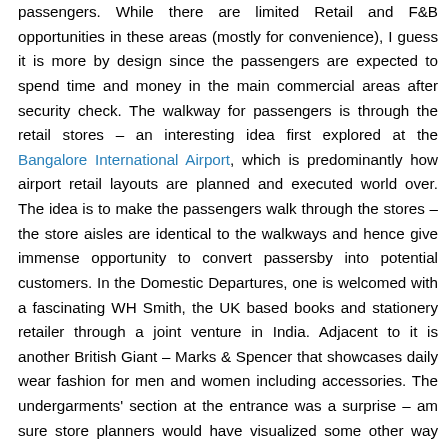passengers. While there are limited Retail and F&B opportunities in these areas (mostly for convenience), I guess it is more by design since the passengers are expected to spend time and money in the main commercial areas after security check. The walkway for passengers is through the retail stores – an interesting idea first explored at the Bangalore International Airport, which is predominantly how airport retail layouts are planned and executed world over. The idea is to make the passengers walk through the stores – the store aisles are identical to the walkways and hence give immense opportunity to convert passersby into potential customers. In the Domestic Departures, one is welcomed with a fascinating WH Smith, the UK based books and stationery retailer through a joint venture in India. Adjacent to it is another British Giant – Marks & Spencer that showcases daily wear fashion for men and women including accessories. The undergarments' section at the entrance was a surprise – am sure store planners would have visualized some other way than reality. Then there are other major retail brands